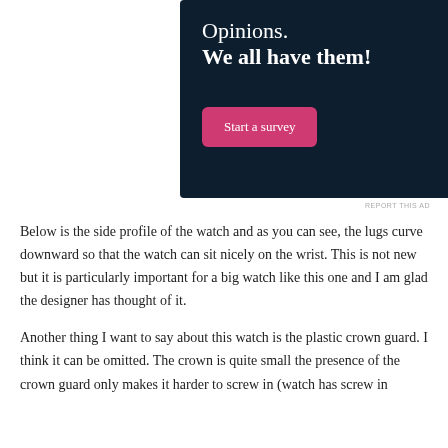[Figure (infographic): Advertisement banner with dark navy background showing 'Opinions. We all have them!' text, a pink 'Start a survey' button, and a CrowdSignal logo circle on the right.]
REPORT THIS AD
Below is the side profile of the watch and as you can see, the lugs curve downward so that the watch can sit nicely on the wrist. This is not new but it is particularly important for a big watch like this one and I am glad the designer has thought of it.
Another thing I want to say about this watch is the plastic crown guard. I think it can be omitted. The crown is quite small the presence of the crown guard only makes it harder to screw in (watch has screw in